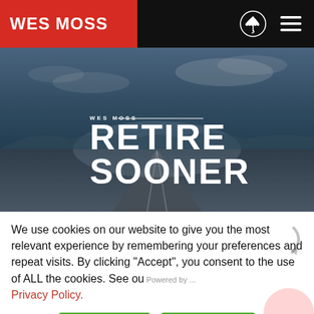WES MOSS
[Figure (photo): Hero banner image of a road stretching into the distance under a dramatic blue-grey sky, overlaid with 'WES MOSS' byline and large text 'RETIRE SOONER']
We use cookies on our website to give you the most relevant experience by remembering your preferences and repeat visits. By clicking “Accept”, you consent to the use of ALL the cookies. See ou… Privacy Policy.